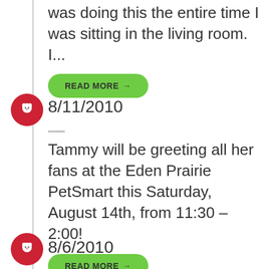was doing this the entire time I was sitting in the living room. I...
READ MORE →
8/11/2010
Tammy will be greeting all her fans at the Eden Prairie PetSmart this Saturday, August 14th, from 11:30 – 2:00!
READ MORE →
8/6/2010